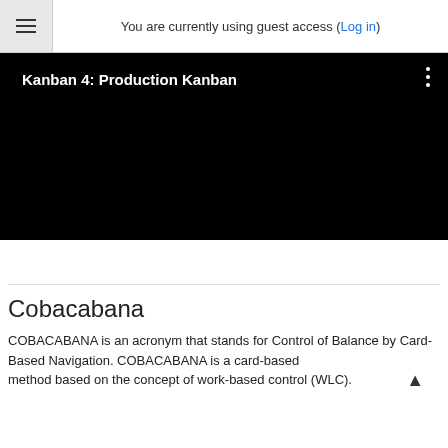You are currently using guest access (Log in)
[Figure (screenshot): Black video player showing 'Kanban 4: Production Kanban' with three vertical dots menu icon in top right]
Cobacabana
COBACABANA is an acronym that stands for Control of Balance by Card-Based Navigation. COBACABANA is a card-based method based on the concept of work-based control (WLC).